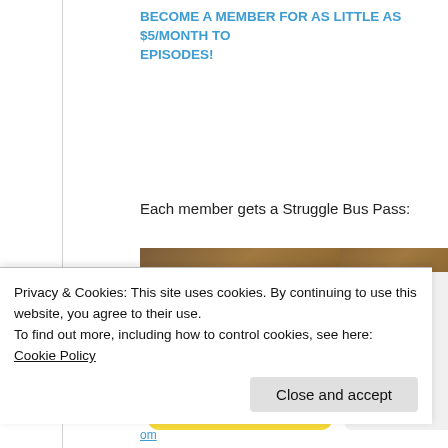BECOME A MEMBER FOR AS LITTLE AS $5/MONTH TO EPISODES!
Each member gets a Struggle Bus Pass:
[Figure (photo): Photo of two membership cards on a wooden surface: a yellow 'the STRUGGLE BUS' card on the left, and a partial white card on the right showing 'NEVER']
Privacy & Cookies: This site uses cookies. By continuing to use this website, you agree to their use.
To find out more, including how to control cookies, see here: Cookie Policy
Close and accept